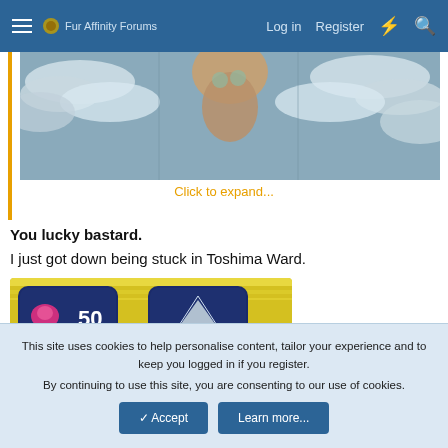Fur Affinity Forums  Log in  Register
[Figure (screenshot): Partially visible anime/game artwork showing a character against a cloudy sky background, cropped at top. Below the image is an orange 'Click to expand...' link.]
You lucky bastard.
I just got down being stuck in Toshima Ward.
[Figure (screenshot): Game UI screenshot showing a yellow/gold background with a dark badge displaying '50' and an arrow icon.]
This site uses cookies to help personalise content, tailor your experience and to keep you logged in if you register.
By continuing to use this site, you are consenting to our use of cookies.